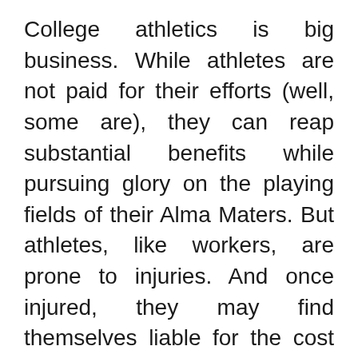College athletics is big business. While athletes are not paid for their efforts (well, some are), they can reap substantial benefits while pursuing glory on the playing fields of their Alma Maters. But athletes, like workers, are prone to injuries. And once injured, they may find themselves liable for the cost of medical treatment. There is no workers comp for injured athletes, but perhaps there ought to be. Kristina Peterson writes in the New York Times that athletes are often